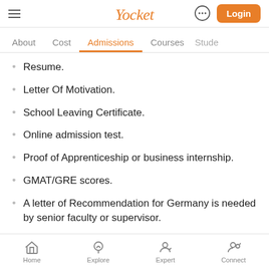Yocket — Login
About | Cost | Admissions | Courses | Stude
Resume.
Letter Of Motivation.
School Leaving Certificate.
Online admission test.
Proof of Apprenticeship or business internship.
GMAT/GRE scores.
A letter of Recommendation for Germany is needed by senior faculty or supervisor.
Home | Explore | Expert | Connect